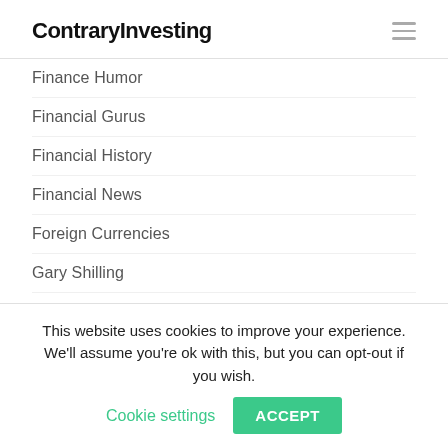ContraryInvesting
Finance Humor
Financial Gurus
Financial History
Financial News
Foreign Currencies
Gary Shilling
GDV
Geopolitics
GIS
This website uses cookies to improve your experience. We'll assume you're ok with this, but you can opt-out if you wish. Cookie settings ACCEPT